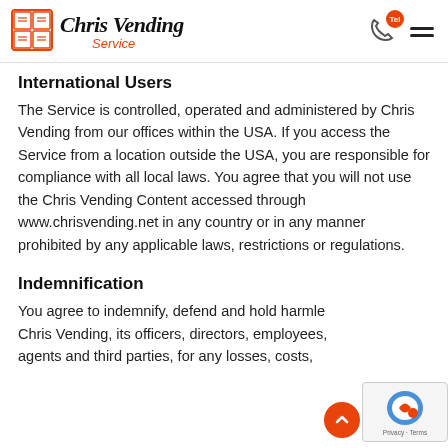Chris Vending Service
International Users
The Service is controlled, operated and administered by Chris Vending from our offices within the USA. If you access the Service from a location outside the USA, you are responsible for compliance with all local laws. You agree that you will not use the Chris Vending Content accessed through www.chrisvending.net in any country or in any manner prohibited by any applicable laws, restrictions or regulations.
Indemnification
You agree to indemnify, defend and hold harmless Chris Vending, its officers, directors, employees, agents and third parties, for any losses, costs,